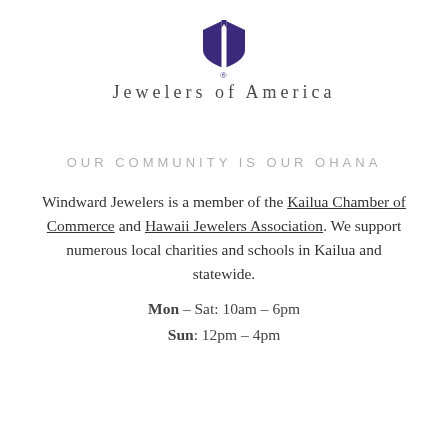[Figure (logo): Jewelers of America logo: purple shield/diamond shape with white vertical stripe]
Jewelers of America
OUR COMMUNITY IS OUR OHANA
Windward Jewelers is a member of the Kailua Chamber of Commerce and Hawaii Jewelers Association. We support numerous local charities and schools in Kailua and statewide.
Mon – Sat: 10am – 6pm
Sun: 12pm – 4pm